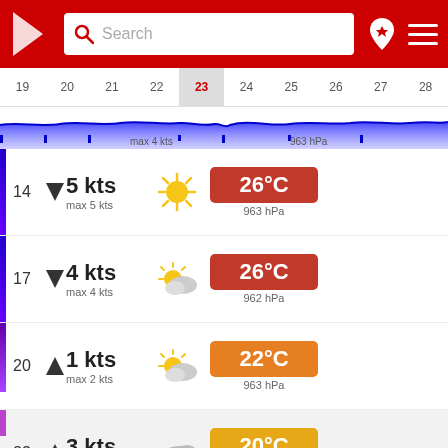[Figure (screenshot): Weather app header with red background, logo, search box, location icon, and hamburger menu]
[Figure (infographic): Date strip showing days 19-28 with day 23 highlighted, and a blue line chart strip below]
max 4 kts   963 hPa
14  ▼ 5 kts  max 5 kts  26°C  963 hPa
17  ▼ 4 kts  max 4 kts  26°C  962 hPa
20  ▲ 1 kts  max 2 kts  22°C  963 hPa
23  ▲ 3 kts  max 3 kts  20°C  964 hPa
Wednesday, Aug 24